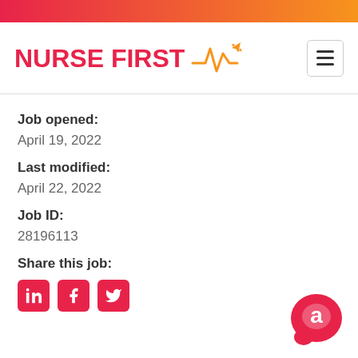[Figure (logo): Nurse First logo with heartbeat/airplane icon and red text]
Job opened:
April 19, 2022
Last modified:
April 22, 2022
Job ID:
28196113
Share this job:
[Figure (illustration): LinkedIn, Facebook, and Twitter social share icons in red rounded squares]
[Figure (logo): Pink chat bubble logo in bottom right corner]